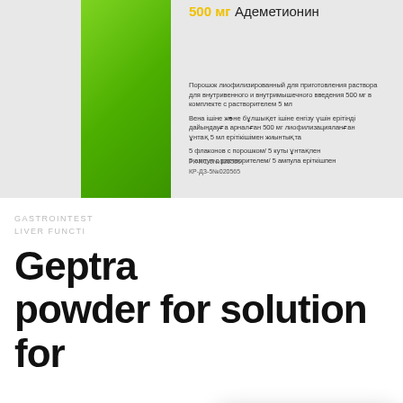[Figure (photo): Medical product box with green bar on left. Yellow bold text '500 мг' followed by 'Адеметионин' in dark text at top. Russian and Kazakh language product descriptions below. Registration codes at bottom.]
Порошок лиофилизированный для приготовления раствора для внутривенного и внутримышечного введения 500 мг в комплекте с растворителем 5 мл
Вена ішіне және бұлшықет ішіне енгізу үшін ерітінді дайындауға арналған 500 мг лиофилизацияланған ұнтақ 5 мл ерітікішімен жиынтықта
5 флаконов с порошком/ 5 куты ұнтақпен
5 ампул с растворителем/ 5 ампула еріткішпен
РК-ЛС-5№020565
КР-ДЗ-5№020565
GASTROINTESTINAL
LIVER FUNCTION
Geptra powder for solution for
We use cookies to ensure that we give you the best experience on our website. If you continue to use this site we will assume that you are happy with it.
Ok, got it!